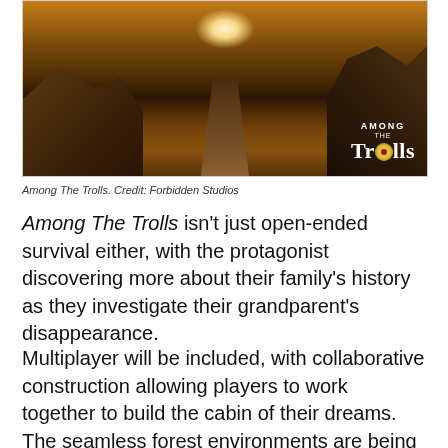[Figure (photo): Dark forest scene with warm sunset glow through rocky terrain, featuring the 'Among The Trolls' game logo in the bottom right corner]
Among The Trolls. Credit: Forbidden Studios
Among The Trolls isn't just open-ended survival either, with the protagonist discovering more about their family's history as they investigate their grandparent's disappearance.
Multiplayer will be included, with collaborative construction allowing players to work together to build the cabin of their dreams. The seamless forest environments are being built in Unity, with the